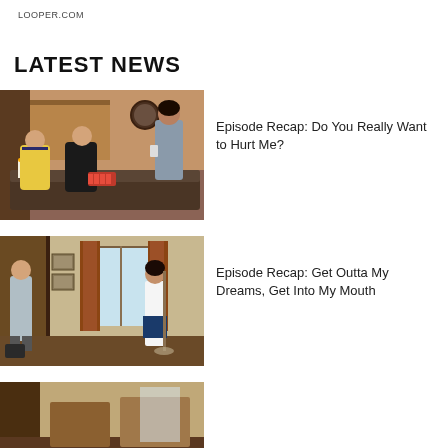LOOPER.COM
LATEST NEWS
[Figure (photo): TV scene with three young people sitting on a couch in a living room, one with a robotic/mechanical hand]
Episode Recap: Do You Really Want to Hurt Me?
[Figure (photo): TV scene with a young man and woman standing in a room with curtains and wooden paneling]
Episode Recap: Get Outta My Dreams, Get Into My Mouth
[Figure (photo): Partial view of another TV scene]